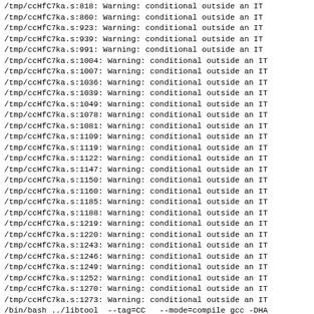/tmp/ccHfC7ka.s:818: Warning: conditional outside an IT
/tmp/ccHfC7ka.s:860: Warning: conditional outside an IT
/tmp/ccHfC7ka.s:923: Warning: conditional outside an IT
/tmp/ccHfC7ka.s:939: Warning: conditional outside an IT
/tmp/ccHfC7ka.s:991: Warning: conditional outside an IT
/tmp/ccHfC7ka.s:1004: Warning: conditional outside an IT
/tmp/ccHfC7ka.s:1007: Warning: conditional outside an IT
/tmp/ccHfC7ka.s:1036: Warning: conditional outside an IT
/tmp/ccHfC7ka.s:1039: Warning: conditional outside an IT
/tmp/ccHfC7ka.s:1049: Warning: conditional outside an IT
/tmp/ccHfC7ka.s:1078: Warning: conditional outside an IT
/tmp/ccHfC7ka.s:1081: Warning: conditional outside an IT
/tmp/ccHfC7ka.s:1109: Warning: conditional outside an IT
/tmp/ccHfC7ka.s:1119: Warning: conditional outside an IT
/tmp/ccHfC7ka.s:1122: Warning: conditional outside an IT
/tmp/ccHfC7ka.s:1147: Warning: conditional outside an IT
/tmp/ccHfC7ka.s:1150: Warning: conditional outside an IT
/tmp/ccHfC7ka.s:1160: Warning: conditional outside an IT
/tmp/ccHfC7ka.s:1185: Warning: conditional outside an IT
/tmp/ccHfC7ka.s:1188: Warning: conditional outside an IT
/tmp/ccHfC7ka.s:1219: Warning: conditional outside an IT
/tmp/ccHfC7ka.s:1220: Warning: conditional outside an IT
/tmp/ccHfC7ka.s:1243: Warning: conditional outside an IT
/tmp/ccHfC7ka.s:1246: Warning: conditional outside an IT
/tmp/ccHfC7ka.s:1249: Warning: conditional outside an IT
/tmp/ccHfC7ka.s:1252: Warning: conditional outside an IT
/tmp/ccHfC7ka.s:1270: Warning: conditional outside an IT
/tmp/ccHfC7ka.s:1273: Warning: conditional outside an IT
/bin/bash ../libtool  --tag=CC   --mode=compile gcc -DHA
libtool: compile:  gcc -DHAVE_CONFIG_H -I. -I.. -fvisib